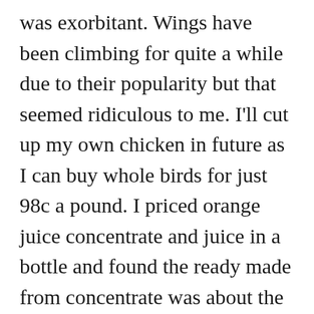was exorbitant. Wings have been climbing for quite a while due to their popularity but that seemed ridiculous to me. I'll cut up my own chicken in future as I can buy whole birds for just 98c a pound. I priced orange juice concentrate and juice in a bottle and found the ready made from concentrate was about the same price. No trimming costs by buying concentrate right now!
I am decorating for Christmas a little at a time, using just what I have and not